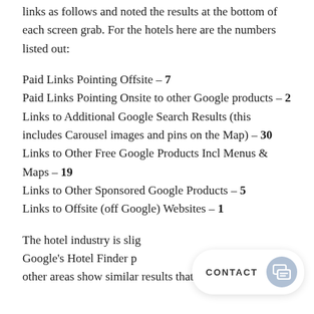links as follows and noted the results at the bottom of each screen grab. For the hotels here are the numbers listed out:
Paid Links Pointing Offsite – 7
Paid Links Pointing Onsite to other Google products – 2
Links to Additional Google Search Results (this includes Carousel images and pins on the Map) – 30
Links to Other Free Google Products Incl Menus & Maps – 19
Links to Other Sponsored Google Products – 5
Links to Offsite (off Google) Websites – 1
The hotel industry is slightly different as Google's Hotel Finder product and other areas show similar results that only